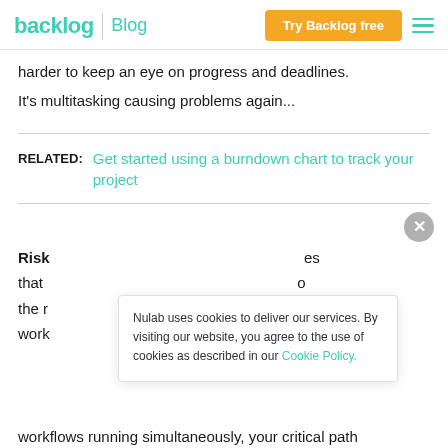backlog | Blog — Try Backlog free
harder to keep an eye on progress and deadlines. It's multitasking causing problems again...
RELATED: Get started using a burndown chart to track your project
Risk [partially obscured] es that [partially obscured] o the r[partially obscured] n't work
Nulab uses cookies to deliver our services. By visiting our website, you agree to the use of cookies as described in our Cookie Policy.
workflows running simultaneously, your critical path